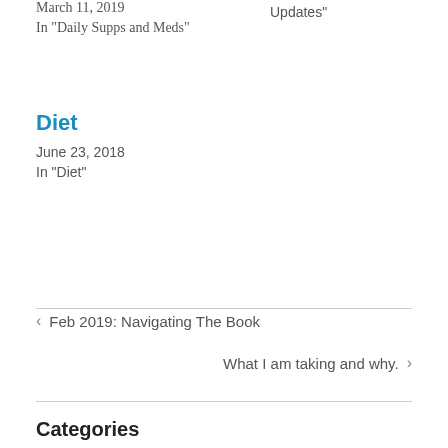March 11, 2019
In "Daily Supps and Meds"
Updates"
Diet
June 23, 2018
In "Diet"
‹ Feb 2019: Navigating The Book
What I am taking and why. ›
Categories